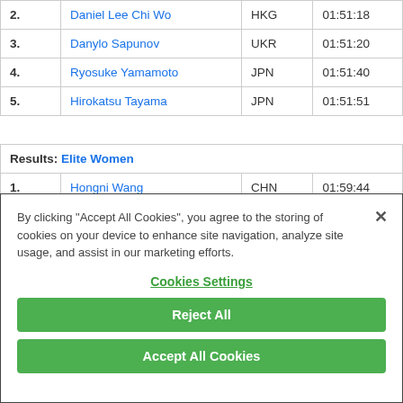| # | Name | Country | Time |
| --- | --- | --- | --- |
| 2. | Daniel Lee Chi Wo | HKG | 01:51:18 |
| 3. | Danylo Sapunov | UKR | 01:51:20 |
| 4. | Ryosuke Yamamoto | JPN | 01:51:40 |
| 5. | Hirokatsu Tayama | JPN | 01:51:51 |
| Results: Elite Women |
| --- |
| 1. | Hongni Wang | CHN | 01:59:44 |
| 2. | Ai Ueda | JPN | 02:04:04 |
By clicking "Accept All Cookies", you agree to the storing of cookies on your device to enhance site navigation, analyze site usage, and assist in our marketing efforts.
Cookies Settings
Reject All
Accept All Cookies